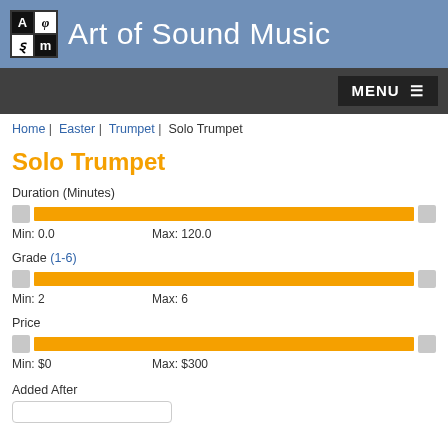[Figure (logo): Art of Sound Music logo with 2x2 grid and text]
MENU ≡
Home | Easter | Trumpet | Solo Trumpet
Solo Trumpet
Duration (Minutes)
Min: 0.0    Max: 120.0
Grade (1-6)
Min: 2    Max: 6
Price
Min: $0    Max: $300
Added After